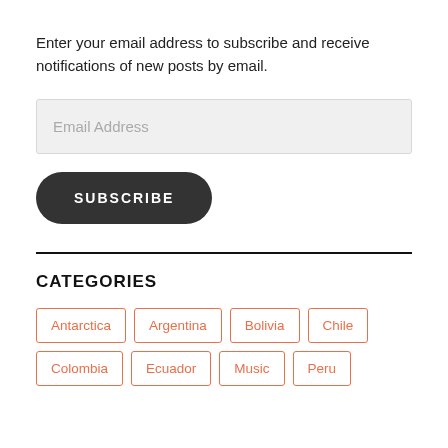Enter your email address to subscribe and receive notifications of new posts by email.
[Figure (other): Email Address input field (text box with placeholder)]
[Figure (other): SUBSCRIBE button (dark rounded button)]
CATEGORIES
Antarctica
Argentina
Bolivia
Chile
Colombia
Ecuador
Music
Peru